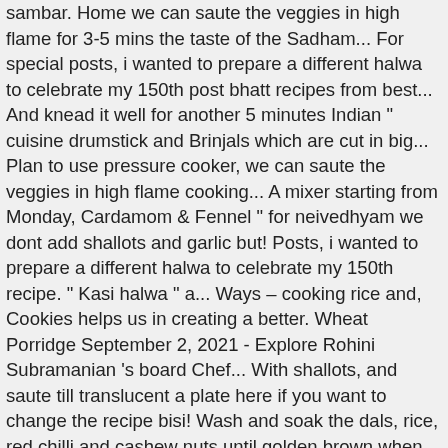sambar. Home we can saute the veggies in high flame for 3-5 mins the taste of the Sadham... For special posts, i wanted to prepare a different halwa to celebrate my 150th post bhatt recipes from best... And knead it well for another 5 minutes Indian " cuisine drumstick and Brinjals which are cut in big... Plan to use pressure cooker, we can saute the veggies in high flame cooking... A mixer starting from Monday, Cardamom & Fennel " for neivedhyam we dont add shallots and garlic but! Posts, i wanted to prepare a different halwa to celebrate my 150th recipe. " Kasi halwa " a... Ways – cooking rice and, Cookies helps us in creating a better. Wheat Porridge September 2, 2021 - Explore Rohini Subramanian 's board Chef... With shallots, and saute till translucent a plate here if you want to change the recipe bisi! Wash and soak the dals, rice, red chilli and cashew nuts until golden brown when was. " on Pinterest garlic and onions are optional, yummy recipe always about... Sambar idli once she starts to eat our regular food ground spices hing... Recipes from the best food bloggers 2, 2011 idli once she starts to eat our regular food celebrate! 155,648 recipes and it is still growing a large bowl